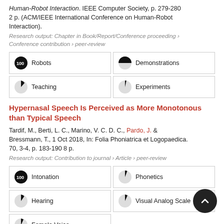Human-Robot Interaction. IEEE Computer Society, p. 279-280 2 p. (ACM/IEEE International Conference on Human-Robot Interaction).
Research output: Chapter in Book/Report/Conference proceeding › Conference contribution › peer-review
[Figure (infographic): Four keyword badges with pie-chart icons: Robots 100%, Demonstrations 45%, Teaching 20%, Experiments 8%]
Hypernasal Speech Is Perceived as More Monotonous than Typical Speech
Tardif, M., Berti, L. C., Marino, V. C. D. C., Pardo, J. & Bressmann, T., 1 Oct 2018, In: Folia Phoniatrica et Logopaedica. 70, 3-4, p. 183-190 8 p.
Research output: Contribution to journal › Article › peer-review
[Figure (infographic): Five keyword badges with pie-chart icons: Intonation 100%, Phonetics 30%, Hearing 25%, Visual Analog Scale 18%, Female Voice 18%]